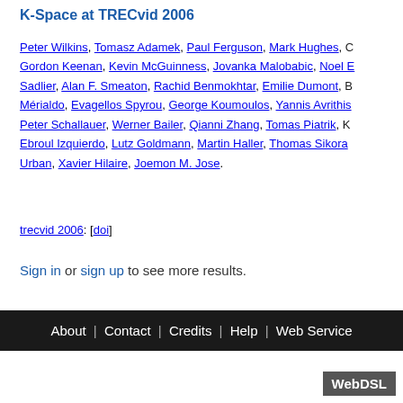K-Space at TRECvid 2006
Peter Wilkins, Tomasz Adamek, Paul Ferguson, Mark Hughes, Gordon Keenan, Kevin McGuinness, Jovanka Malobabic, Noel E. Sadlier, Alan F. Smeaton, Rachid Benmokhtar, Emilie Dumont, B. Mérialdo, Evagellos Spyrou, George Koumoulos, Yannis Avrithis, Peter Schallauer, Werner Bailer, Qianni Zhang, Tomas Piatrik, K. Ebroul Izquierdo, Lutz Goldmann, Martin Haller, Thomas Sikora, Urban, Xavier Hilaire, Joemon M. Jose.
trecvid 2006: [doi]
Sign in or sign up to see more results.
About | Contact | Credits | Help | Web Service
WebDSL